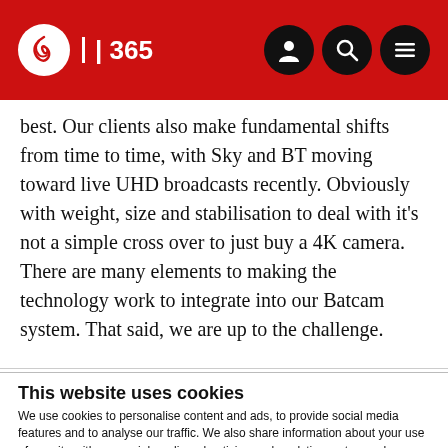IBC 365
best. Our clients also make fundamental shifts from time to time, with Sky and BT moving toward live UHD broadcasts recently. Obviously with weight, size and stabilisation to deal with it's not a simple cross over to just buy a 4K camera. There are many elements to making the technology work to integrate into our Batcam system. That said, we are up to the challenge.
This website uses cookies
We use cookies to personalise content and ads, to provide social media features and to analyse our traffic. We also share information about your use of our site with our social media, advertising and analytics partners who may combine it with other information that you've provided to them or that they've collected from your use of their services. You can opt out of certain types of cookies below before proceeding to the website.
Use necessary cookies only
Allow all cookies
Show details